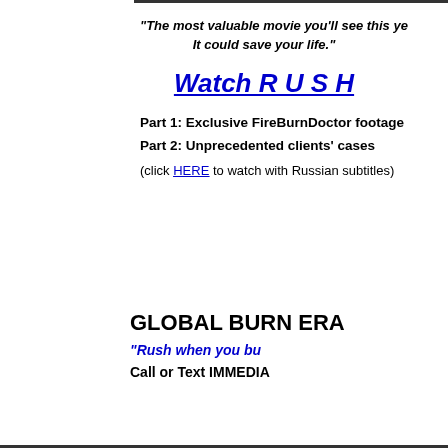"The most valuable movie you'll see this ye...
It could save your life."
Watch R U S H
Part 1: Exclusive FireBurnDoctor footage
Part 2: Unprecedented clients' cases
(click HERE to watch with Russian subtitles)
GLOBAL BURN ERA...
"Rush when you bu...
Call or Text IMMEDIA...